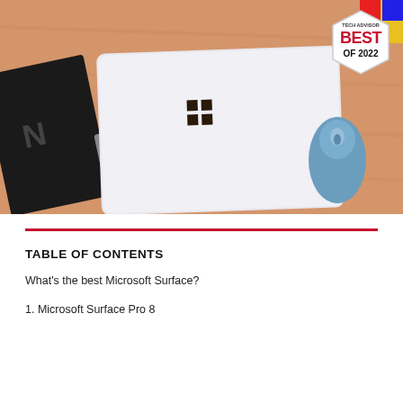[Figure (photo): Overhead photo of a Microsoft Surface laptop closed on a wooden desk, with a black notebook and pen to the left and a blue wireless mouse to the right. A 'Tech Advisor Best of 2022' badge appears in the top-right corner of the image.]
TABLE OF CONTENTS
What's the best Microsoft Surface?
1. Microsoft Surface Pro 8